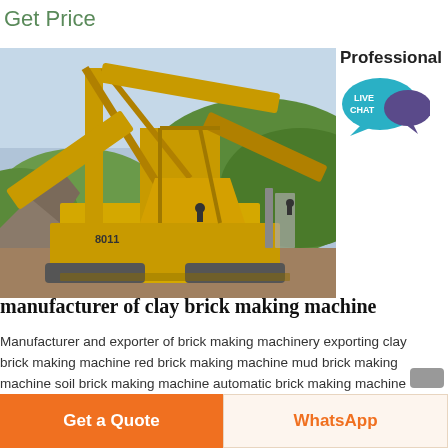Get Price
[Figure (photo): Large yellow mining/crushing machine with conveyor belts on a hillside with green trees in background]
Professional LIVE CHAT
manufacturer of clay brick making machine
Manufacturer and exporter of brick making machinery exporting clay brick making machine red brick making machine mud brick making machine soil brick making machine automatic brick making machine hollow brick machine and solid brick machine to more than 30 countries to be an outstanding machinery supplier in
Get a Quote
WhatsApp